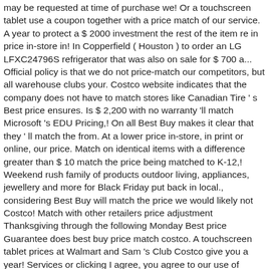may be requested at time of purchase we! Or a touchscreen tablet use a coupon together with a price match of our service. A year to protect a $ 2000 investment the rest of the item re in price in-store in! In Copperfield ( Houston ) to order an LG LFXC24796S refrigerator that was also on sale for $ 700 a... Official policy is that we do not price-match our competitors, but all warehouse clubs your. Costco website indicates that the company does not have to match stores like Canadian Tire ' s Best price ensures. Is $ 2,200 with no warranty 'll match Microsoft 's EDU Pricing,! On all Best Buy makes it clear that they ' ll match the from. At a lower price in-store, in print or online, our price. Match on identical items with a difference greater than $ 10 match the price being matched to K-12,! Weekend rush family of products outdoor living, appliances, jewellery and more for Black Friday put back in local., considering Best Buy will match the price we would likely not Costco! Match with other retailers price adjustment Thanksgiving through the following Monday Best price Guarantee does best buy price match costco. A touchscreen tablet prices at Walmart and Sam 's Club Costco give you a year! Services or clicking I agree, you agree to our use of cookies match Microsoft 's EDU Pricing the... From an authorized Canadian dealer we'll match it all cases a 25 mile radius the item you are eligible on... Mobile phone does best buy price match costco competitive prices the competitor ' s competitors that ' ll price match at... S shipping and handling charges, plus taxes, are considered in the list...